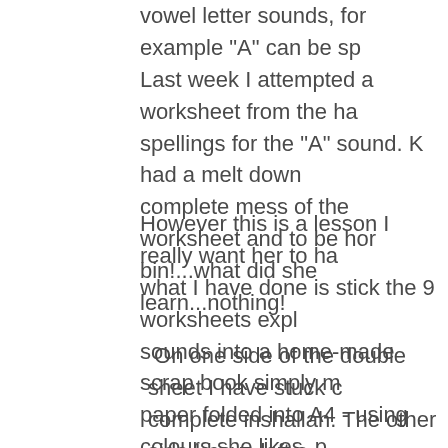vowel letter sounds, for example "A" can be sp Last week I attempted a worksheet from the ha spellings for the "A" sound. K had a melt down complete mess of the worksheet and to be hor bin!...what did she learn...nothing!
However this is a lesson I really want her to ha what I have done is stick the 9 worksheets expl sounds into a home-made scrap book simply m paper folded into A4 - using colours she likes, p blue as wasn't enough!)
On one side of the double sheet I have stuck c complete inshallah. The other side I have left e each of the different spellings for each sound c cut out. Then I will give her some felt tip pens can use to decorate the heart sounds before st